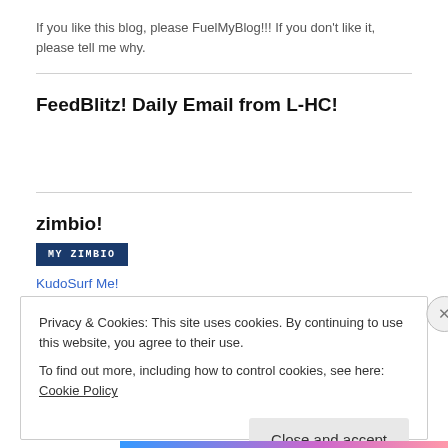If you like this blog, please FuelMyBlog!!! If you don't like it, please tell me why.
FeedBlitz! Daily Email from L-HC!
zimbio!
[Figure (other): MY ZIMBIO badge button — dark navy blue rectangle with white monospace text 'MY ZIMBIO']
KudoSurf Me!
Privacy & Cookies: This site uses cookies. By continuing to use this website, you agree to their use.
To find out more, including how to control cookies, see here: Cookie Policy